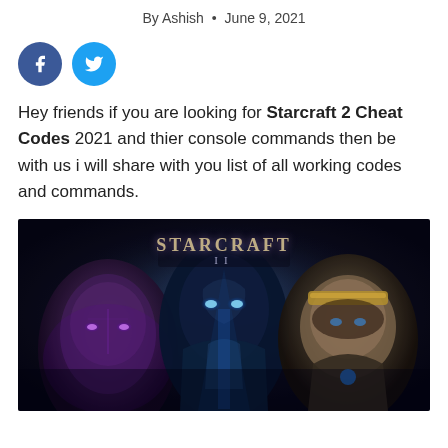By Ashish • June 9, 2021
[Figure (illustration): Facebook and Twitter social share buttons (circular icons)]
Hey friends if you are looking for Starcraft 2 Cheat Codes 2021 and thier console commands then be with us i will share with you list of all working codes and commands.
[Figure (photo): StarCraft II game promotional artwork showing three characters: a dark female character with purple eyes on the left, a Protoss alien in the center, and an armored male soldier on the right, with the StarCraft II logo at the top center.]